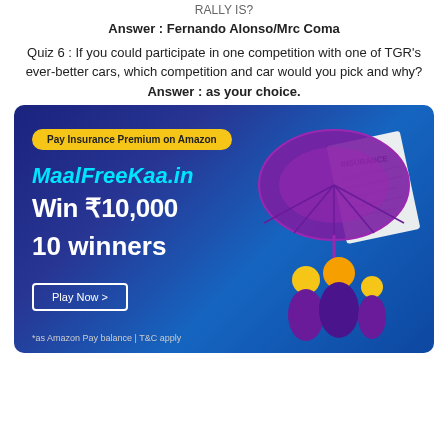RALLY IS?
Answer : Fernando Alonso/Mrc Coma
Quiz 6 : If you could participate in one competition with one of TGR's ever-better cars, which competition and car would you pick and why?
Answer : as your choice.
[Figure (infographic): Amazon Pay insurance premium promotion banner with dark blue/purple gradient background. Yellow pill label 'Pay Insurance Premium on Amazon', site name 'MaalFreeKaa.in', 'Win ₹10,000', '10 winners', 'Play Now >' button, '*as Amazon Pay balance | T&C apply'. Right side shows purple umbrella over yellow family figures with an insurance document.]